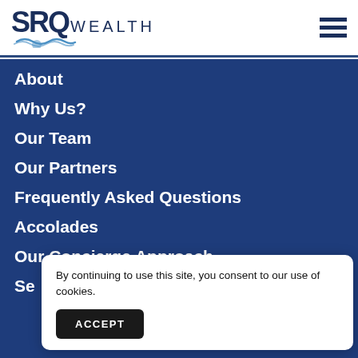SRQ WEALTH
About
Why Us?
Our Team
Our Partners
Frequently Asked Questions
Accolades
Our Concierge Approach
Se
By continuing to use this site, you consent to our use of cookies.
ACCEPT